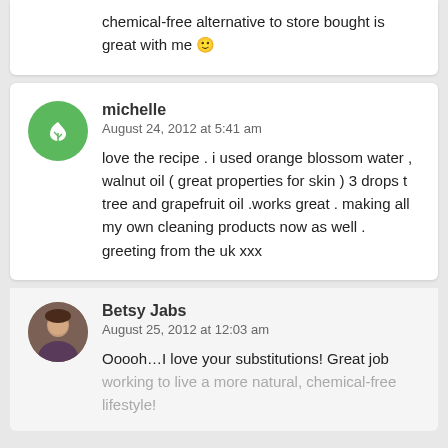chemical-free alternative to store bought is great with me 🙂
michelle
August 24, 2012 at 5:41 am
love the recipe . i used orange blossom water , walnut oil ( great properties for skin ) 3 drops t tree and grapefruit oil .works great . making all my own cleaning products now as well . greeting from the uk xxx
Betsy Jabs
August 25, 2012 at 12:03 am
Ooooh…I love your substitutions! Great job working to live a more natural, chemical-free lifestyle!